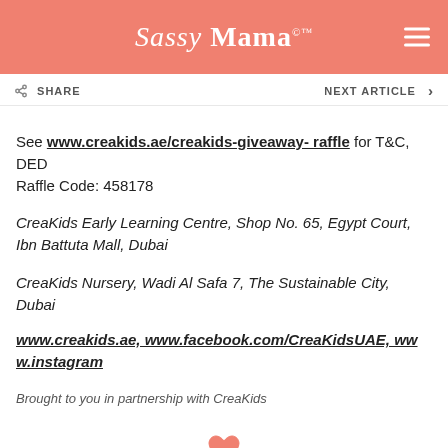Sassy Mama
SHARE   NEXT ARTICLE >
See www.creakids.ae/creakids-giveaway- raffle for T&C, DED Raffle Code: 458178
CreaKids Early Learning Centre, Shop No. 65, Egypt Court, Ibn Battuta Mall, Dubai
CreaKids Nursery, Wadi Al Safa 7, The Sustainable City, Dubai
www.creakids.ae, www.facebook.com/CreaKidsUAE, www.instagram
Brought to you in partnership with CreaKids